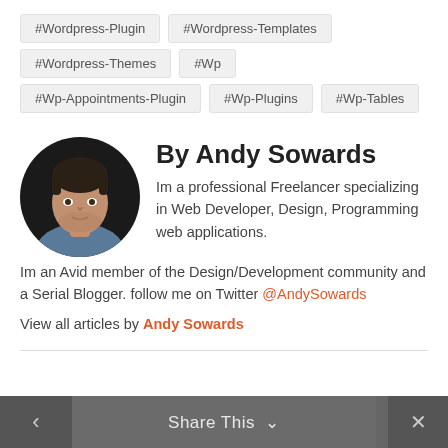#Wordpress-Plugin
#Wordpress-Templates
#Wordpress-Themes
#Wp
#Wp-Appointments-Plugin
#Wp-Plugins
#Wp-Tables
By Andy Sowards
[Figure (photo): Circular profile photo of Andy Sowards]
Im a professional Freelancer specializing in Web Developer, Design, Programming web applications. Im an Avid member of the Design/Development community and a Serial Blogger. follow me on Twitter @AndySowards
View all articles by Andy Sowards
Share This